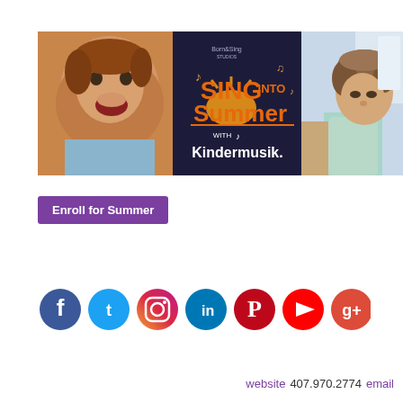[Figure (photo): Kindermusik 'Sing into Summer' promotional banner with laughing child on left and orange text logo on right]
[Figure (photo): Side photo of a young curly-haired toddler looking down, partial crop]
Enroll for Summer
[Figure (infographic): Row of social media icons: Facebook (blue), Twitter (blue), Instagram (gradient), LinkedIn (teal), Pinterest (red), YouTube (red), Google+ (red)]
website  407.970.2774  email